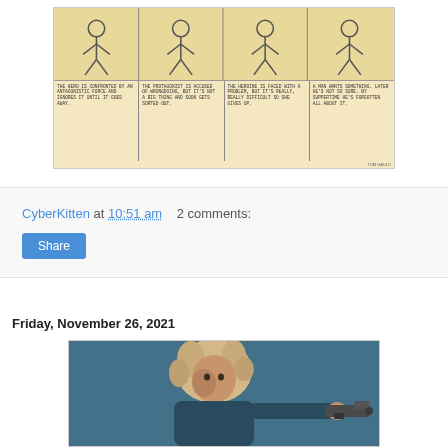[Figure (illustration): A comic strip with four panels showing contrasting narrative tropes: hero ignores antagonistic force, protagonist accused of wrongdoing, heroine faces problem and gives up, man wants something then forgets. Signed by Tom Gauld.]
CyberKitten at 10:51 am   2 comments:
Share
Friday, November 26, 2021
[Figure (illustration): Digital illustration of a woman with curly blonde hair pointing a futuristic gun, on a teal/dark blue background.]